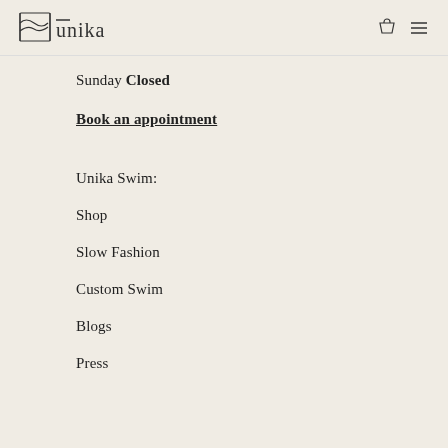Unika [logo] [cart icon] [menu icon]
Sunday Closed
Book an appointment
Unika Swim:
Shop
Slow Fashion
Custom Swim
Blogs
Press